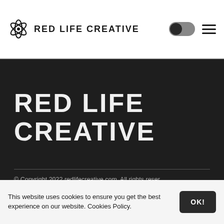RED LIFE CREATIVE
RED LIFE CREATIVE
© Copyright 2022 redlifecreative.com. All rights reserved. About us RED LIFE CREATIVE  Privacy
This website uses cookies to ensure you get the best experience on our website. Cookies Policy.